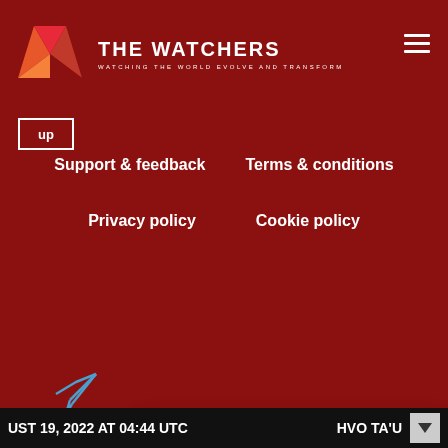THE WATCHERS — WATCHING THE WORLD EVOLVE AND TRANSFORM
up
Support & feedback
Terms & conditions
Privacy policy
Cookie policy
We use cookies on our website to give you the most relevant experience by remembering your preferences and repeat visits. By clicking “Accept”, you consent to the use of ALL the cookies.
Do not sell my personal information.
Cookie settings | Accept
UST 19, 2022 AT 04:44 UTC     HVO TA'U